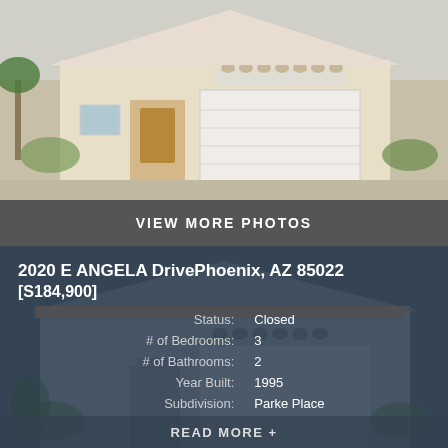[Figure (photo): Exterior photo of a single-story stucco house with a large two-car garage, arched windows, palm tree and desert landscaping]
VIEW MORE PHOTOS
2020 E ANGELA DrivePhoenix, AZ 85022 [S184,900]
[Figure (photo): Background watermark photo of a similar stucco house with tile roof and two-car garage]
| Label | Value |
| --- | --- |
| Status: | Closed |
| # of Bedrooms: | 3 |
| # of Bathrooms: | 2 |
| Year Built: | 1995 |
| Subdivision: | Parke Place |
READ MORE +